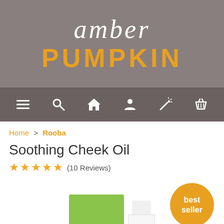[Figure (logo): Amber Pumpkin logo on grey background. 'amber' in white italic script, 'PUMPKIN' in orange bold uppercase sans-serif.]
[Figure (other): Navigation bar with icons: hamburger menu, search, home, account, magic wand/wishlist, shopping basket.]
Home > Rooba
Soothing Cheek Oil
★★★★★ (10 Reviews)
[Figure (photo): Product photo: green box with 'rooba natural baby care' branding and white roll-on bottle. Orange 'best seller' badge in top right.]